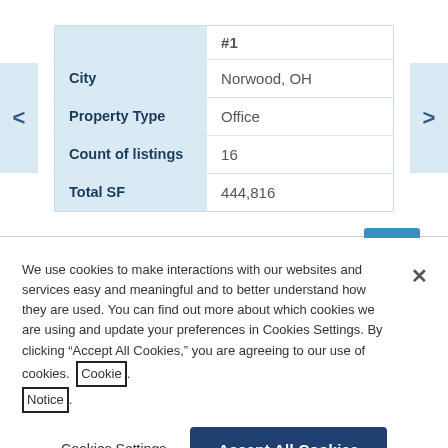|  | #1 |
| City | Norwood, OH |
| Property Type | Office |
| Count of listings | 16 |
| Total SF | 444,816 |
We use cookies to make interactions with our websites and services easy and meaningful and to better understand how they are used. You can find out more about which cookies we are using and update your preferences in Cookies Settings. By clicking "Accept All Cookies," you are agreeing to our use of cookies. Cookie Notice.